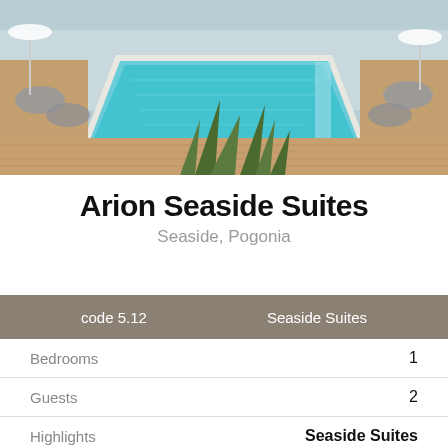[Figure (photo): Aerial view of a luxury hotel infinity pool with wooden deck, lounge chairs, and tropical plants.]
Arion Seaside Suites
Seaside, Pogonia
code 5.12    Seaside Suites
|  |  |
| --- | --- |
| Bedrooms | 1 |
| Guests | 2 |
| Highlights | Seaside Suites |
| Interiors | 85  2 |